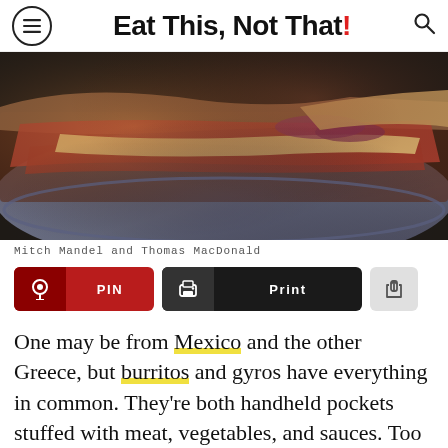Eat This, Not That!
[Figure (photo): Close-up photo of a meat sandwich or gyro/burrito with sliced meat, melted cheese sauce, and red onions on a blue plate, dark background]
Mitch Mandel and Thomas MacDonald
PIN  Print  [share]
One may be from Mexico and the other Greece, but burritos and gyros have everything in common. They're both handheld pockets stuffed with meat, vegetables, and sauces. Too bad most